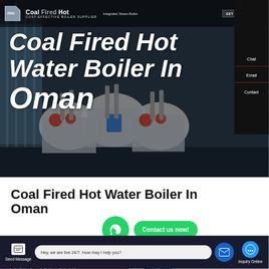[Figure (screenshot): Website screenshot showing a coal fired hot water boiler supplier page with dark hero image of industrial boilers, navigation bar, sidebar with Chat/Email/Contact options, and bottom chat bar]
Coal Fired Hot Water Boiler In Oman
HOT NEWS
Hey, we are live 24/7. How may I help you?
Send Message
Inquiry Online
Chat
Email
Contact
Contact us now!